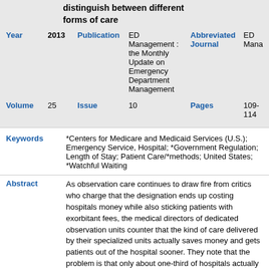distinguish between different forms of care
| Year | 2013 | Publication | ED Management : the Monthly Update on Emergency Department Management | Abbreviated Journal | ED Mana... |
| --- | --- | --- | --- | --- | --- |
| Volume | 25 | Issue | 10 | Pages | 109-114 |
Keywords: *Centers for Medicare and Medicaid Services (U.S.); Emergency Service, Hospital; *Government Regulation; Length of Stay; Patient Care/*methods; United States; *Watchful Waiting
Abstract: As observation care continues to draw fire from critics who charge that the designation ends up costing hospitals money while also sticking patients with exorbitant fees, the medical directors of dedicated observation units counter that the kind of care delivered by their specialized units actually saves money and gets patients out of the hospital sooner. They note that the problem is that only about one-third of hospitals actually have dedicated observation units, so patients placed on observation typically wind up in inpatient beds, where they may only be evaluated once a day. CMS has just released a new policy rule on observation that should help patients avoid excessive charges, but many experts think they go the wrong way about it.